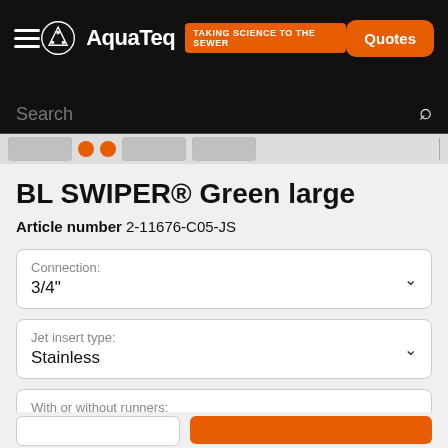AquaTeq — TAKING SCIENCE TO THE SEWER | Quotes
Search
BL SWIPER® Green large
Article number 2-11676-C05-JS
Connection: 3/4"
Jet insert type: Stainless
With or without runners: Without